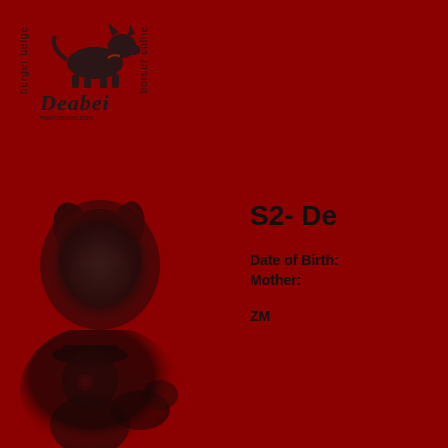[Figure (logo): Deabei kennel logo with dog silhouette, vertical text 'berger belge' and 'border collie', main text 'Deabei' and website URL]
[Figure (photo): Photo of a dark-colored dog (Belgian Shepherd/Tervuren) head portrait against dark red background]
S2- De
Date of Birth:
Mother:
ZM
[Figure (photo): Photo of a person with a dog, partially visible at bottom left of the page]